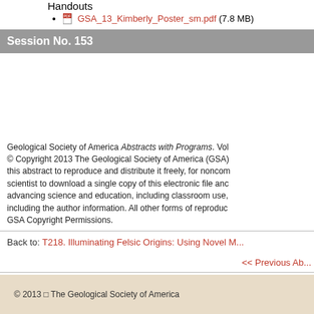Handouts
GSA_13_Kimberly_Poster_sm.pdf (7.8 MB)
Session No. 153
Geological Society of America Abstracts with Programs. Vol © Copyright 2013 The Geological Society of America (GSA) this abstract to reproduce and distribute it freely, for noncom scientist to download a single copy of this electronic file anc advancing science and education, including classroom use, including the author information. All other forms of reproduc GSA Copyright Permissions.
Back to: T218. Illuminating Felsic Origins: Using Novel M...
<< Previous Ab...
© 2013 □ The Geological Society of America